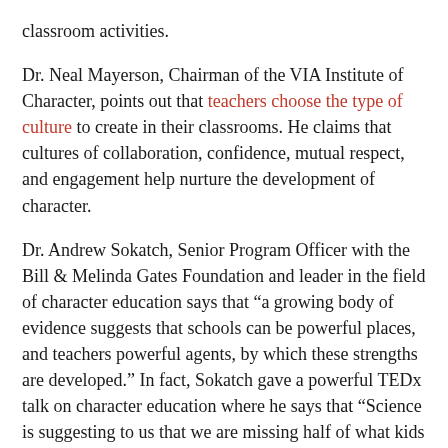classroom activities.
Dr. Neal Mayerson, Chairman of the VIA Institute of Character, points out that teachers choose the type of culture to create in their classrooms. He claims that cultures of collaboration, confidence, mutual respect, and engagement help nurture the development of character.
Dr. Andrew Sokatch, Senior Program Officer with the Bill & Melinda Gates Foundation and leader in the field of character education says that “a growing body of evidence suggests that schools can be powerful places, and teachers powerful agents, by which these strengths are developed.” In fact, Sokatch gave a powerful TEDx talk on character education where he says that “Science is suggesting to us that we are missing half of what kids need to become fully engaged, successful, flourishing adults.” He believes schools need to teach content knowledge and character.
Watch Dr. Sokatch’s 13-minute talk to learn what character education means and how all schools can learn to do this work h...